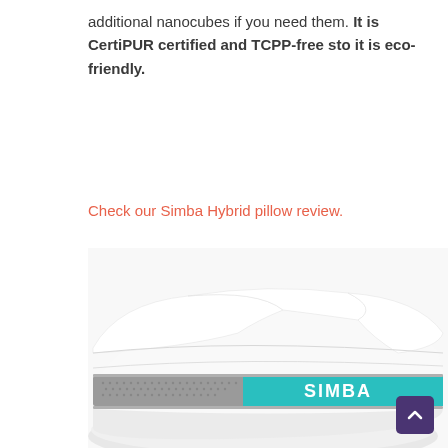additional nanocubes if you need them. It is CertiPUR certified and TCPP-free sto it is eco-friendly.
Check our Simba Hybrid pillow review.
[Figure (photo): Side view of a white Simba Hybrid pillow with gray mesh gusset and teal/turquoise Simba branded panel, showing quilted sections on top]